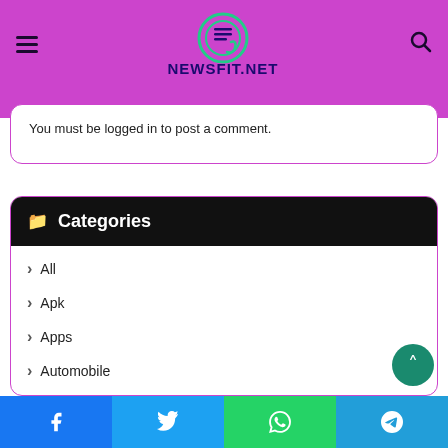NEWSFIT.NET
You must be logged in to post a comment.
Categories
All
Apk
Apps
Automobile
Automotive
Business
Facebook | Twitter | WhatsApp | Telegram